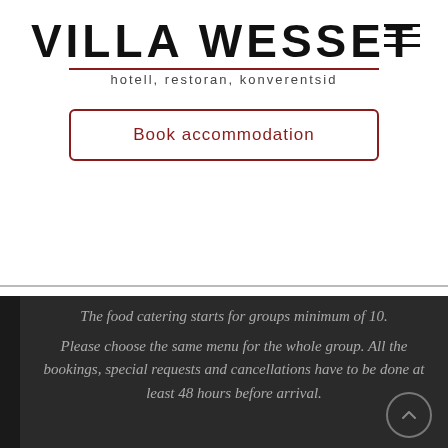VILLA WESSET
hotell, restoran, konverentsid
Book accommodation
The food catering starts for groups minimum of 10.
Please choose the same menu for the whole group. All the bookings, special requests and cancellations have to be done at least 48 hours before arrival.